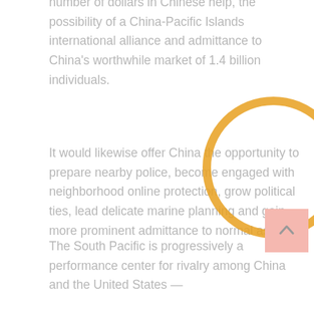number of dollars in Chinese help, the possibility of a China-Pacific Islands international alliance and admittance to China's worthwhile market of 1.4 billion individuals.
It would likewise offer China the opportunity to prepare nearby police, become engaged with neighborhood online protection, grow political ties, lead delicate marine planning and gain more prominent admittance to normal assets.
The "exhaustive advancement vision" is accepted to be up for endorsement when Wang meets territorial unfamiliar pastors on May 30 in Fiji.
The South Pacific is progressively a performance center for rivalry among China and the United States —
[Figure (illustration): An orange/gold circle outline overlaid on the second paragraph of text, partially transparent, acting as a highlight or annotation circle.]